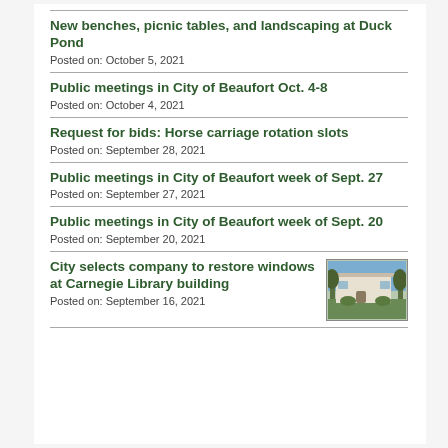New benches, picnic tables, and landscaping at Duck Pond
Posted on: October 5, 2021
Public meetings in City of Beaufort Oct. 4-8
Posted on: October 4, 2021
Request for bids: Horse carriage rotation slots
Posted on: September 28, 2021
Public meetings in City of Beaufort week of Sept. 27
Posted on: September 27, 2021
Public meetings in City of Beaufort week of Sept. 20
Posted on: September 20, 2021
City selects company to restore windows at Carnegie Library building
Posted on: September 16, 2021
[Figure (photo): Exterior photo of Carnegie Library building, a white building with trees in front]